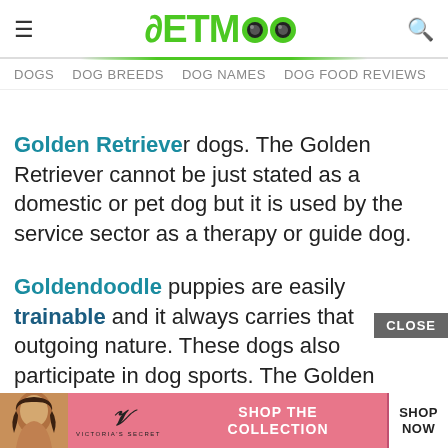PETMOO — DOGS  DOG BREEDS  DOG NAMES  DOG FOOD REVIEWS
Golden Retriever dogs. The Golden Retriever cannot be just stated as a domestic or pet dog but it is used by the service sector as a therapy or guide dog.
Goldendoodle puppies are easily trainable and it always carries that outgoing nature. These dogs also participate in dog sports. The Golden Retriever always wishes to keep a close bonding with the family.
[Figure (screenshot): Victoria's Secret advertisement banner at bottom of page with CLOSE button overlay]
CLOSE | Victoria's Secret: SHOP THE COLLECTION — SHOP NOW